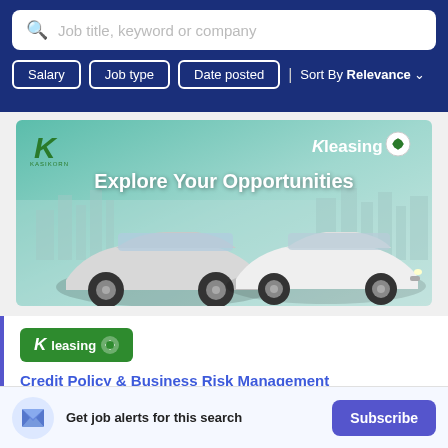[Figure (screenshot): Job search bar with placeholder text 'Job title, keyword or company' and a search icon]
Salary   Job type   Date posted   | Sort By Relevance ∨
[Figure (illustration): KLeasing advertisement banner showing two white cars and text 'Explore Your Opportunities' with teal gradient background]
[Figure (logo): KLeasing company logo - green rectangle with white text 'KLeasing' and shield icon]
Credit Policy & Business Risk Management
Kasikorn Leasing Co., Ltd.
Get job alerts for this search